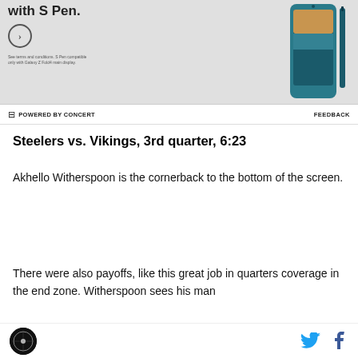[Figure (photo): Advertisement banner for Samsung Galaxy Z Fold4 with S Pen, showing the phone and text 'with S Pen.' with a circle arrow button and small terms text]
⊟ POWERED BY CONCERT   FEEDBACK
Steelers vs. Vikings, 3rd quarter, 6:23
Akhello Witherspoon is the cornerback to the bottom of the screen.
There were also payoffs, like this great job in quarters coverage in the end zone. Witherspoon sees his man